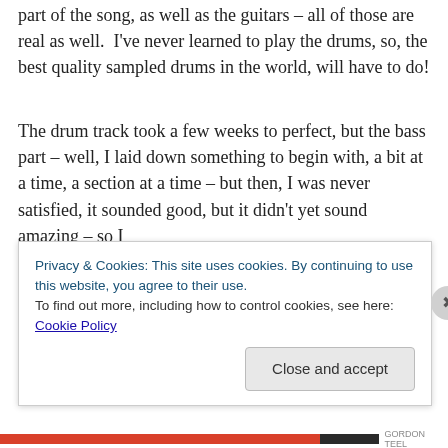The same goes for all of the keyboard parts in the main part of the song, as well as the guitars – all of those are real as well.  I've never learned to play the drums, so, the best quality sampled drums in the world, will have to do!
The drum track took a few weeks to perfect, but the bass part – well, I laid down something to begin with, a bit at a time, a section at a time – but then, I was never satisfied, it sounded good, but it didn't yet sound amazing – so I
Privacy & Cookies: This site uses cookies. By continuing to use this website, you agree to their use.
To find out more, including how to control cookies, see here: Cookie Policy